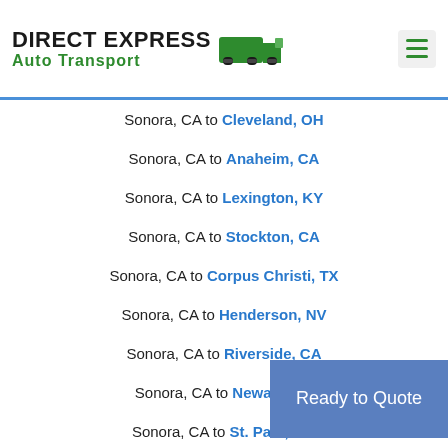DIRECT EXPRESS Auto Transport
Sonora, CA to Cleveland, OH
Sonora, CA to Anaheim, CA
Sonora, CA to Lexington, KY
Sonora, CA to Stockton, CA
Sonora, CA to Corpus Christi, TX
Sonora, CA to Henderson, NV
Sonora, CA to Riverside, CA
Sonora, CA to Newark, NJ
Sonora, CA to St. Paul, MN
Ready to Quote